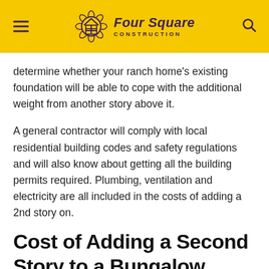Four Square Construction
determine whether your ranch home's existing foundation will be able to cope with the additional weight from another story above it.
A general contractor will comply with local residential building codes and safety regulations and will also know about getting all the building permits required. Plumbing, ventilation and electricity are all included in the costs of adding a 2nd story on.
Cost of Adding a Second Story to a Bungalow